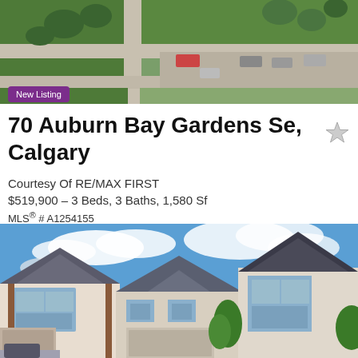[Figure (photo): Aerial view of a residential neighborhood with green lawns, roads, parked cars, and trees]
New Listing
70 Auburn Bay Gardens Se, Calgary
Courtesy Of RE/MAX FIRST
$519,900 – 3 Beds, 3 Baths, 1,580 Sf
MLS® # A1254155
[Figure (photo): Street-level photo of residential homes in Auburn Bay, Calgary, with blue sky and clouds in background. Shows three two-storey homes with garages and green trees.]